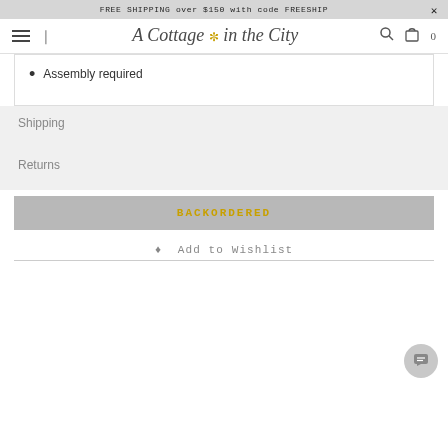FREE SHIPPING over $150 with code FREESHIP
[Figure (logo): A Cottage in the City logo with decorative script and flower emblem]
Assembly required
Shipping
Returns
BACKORDERED
Add to Wishlist